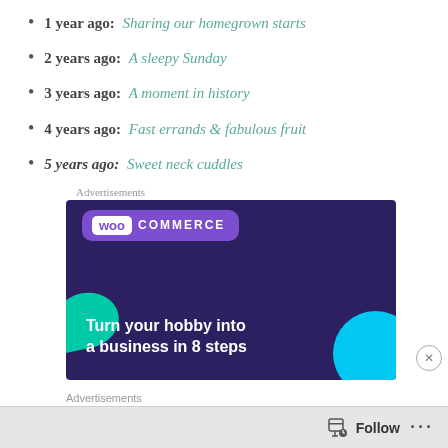1 year ago: Sharing our homegrown starts
2 years ago: A sleepy Sunday
3 years ago: A moment in history
4 years ago: Fast errands & fabulous fruit
5 years ago: Sweet neck cuddles
Advertisements
[Figure (screenshot): WooCommerce advertisement banner with text 'Turn your hobby into a business in 8 steps' on dark purple background with teal and cyan decorative shapes]
Advertisements
Follow   ...